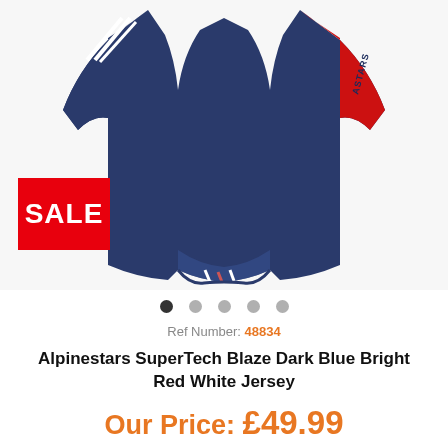[Figure (photo): Alpinestars SuperTech Blaze jersey in dark navy blue with bright red sleeves and white stripe detailing, shown on a white background. A red SALE badge is overlaid on the bottom-left of the image.]
Ref Number: 48834
Alpinestars SuperTech Blaze Dark Blue Bright Red White Jersey
Our Price: £49.99
RRP: £64.99  You Save: £15 (23%)